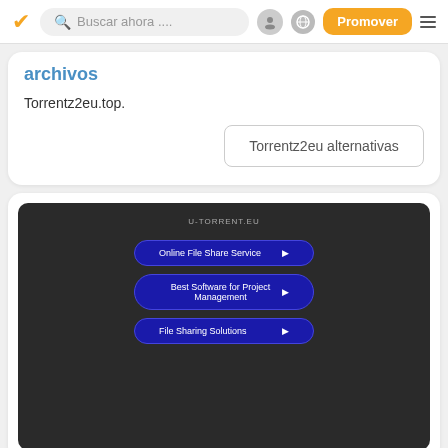Buscar ahora ... | Promover
archivos
Torrentz2eu.top.
Torrentz2eu alternativas
[Figure (screenshot): Dark-themed U-TORRENT.EU website screenshot showing three blue rounded-rectangle buttons: 'Online File Share Service', 'Best Software for Project Management', and 'File Sharing Solutions']